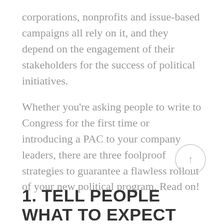corporations, nonprofits and issue-based campaigns all rely on it, and they depend on the engagement of their stakeholders for the success of political initiatives.
Whether you're asking people to write to Congress for the first time or introducing a PAC to your company leaders, there are three foolproof strategies to guarantee a flawless rollout of your new political program. Read on!
[Figure (other): A circular arrow/scroll-to-top button icon in light gray]
1. TELL PEOPLE WHAT TO EXPECT